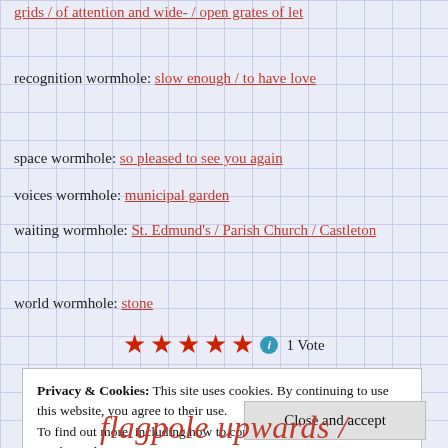grids / of attention and wide- / open grates of let
recognition wormhole: slow enough / to have love
space wormhole: so pleased to see you again
voices wormhole: municipal garden
waiting wormhole: St. Edmund's / Parish Church / Castleton
world wormhole: stone
[Figure (other): Five red star rating icons followed by a blue info icon and '1 Vote' text]
Privacy & Cookies: This site uses cookies. By continuing to use this website, you agree to their use. To find out more, including how to control cookies, see here: Cookie Policy
Close and accept
flagpole upwards /